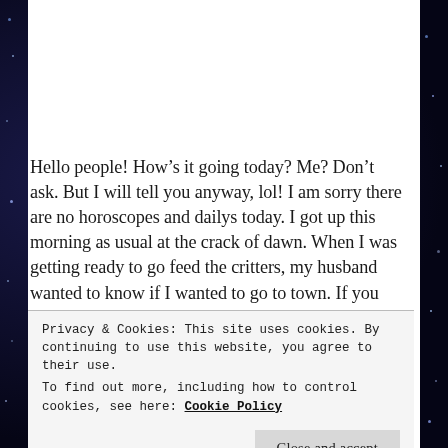Hello people! How's it going today? Me? Don't ask. But I will tell you anyway, lol! I am sorry there are no horoscopes and dailys today. I got up this morning as usual at the crack of dawn. When I was getting ready to go feed the critters, my husband wanted to know if I wanted to go to town. If you don't go to town with him,
Privacy & Cookies: This site uses cookies. By continuing to use this website, you agree to their use.
To find out more, including how to control cookies, see here: Cookie Policy
and play with them. Two of them will crawl all over me